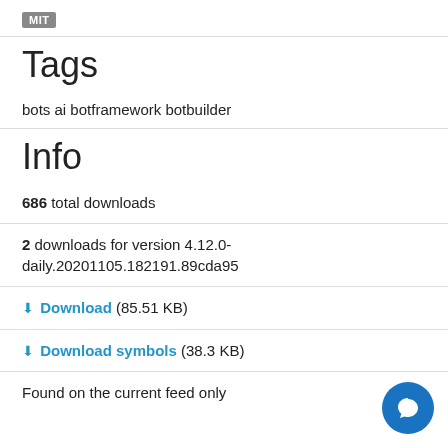[Figure (logo): MIT badge/label — grey rounded rectangle with white MIT text]
Tags
bots ai botframework botbuilder
Info
686 total downloads
2 downloads for version 4.12.0-daily.20201105.182191.89cda95
⬇ Download (85.51 KB)
⬇ Download symbols (38.3 KB)
Found on the current feed only